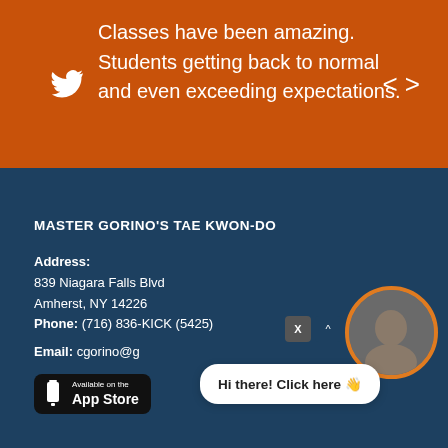[Figure (screenshot): Orange banner with Twitter bird icon on left, tweet text reading 'Classes have been amazing. Students getting back to normal and even exceeding expectations.' and navigation arrows on right]
MASTER GORINO'S TAE KWON-DO
Address:
839 Niagara Falls Blvd
Amherst, NY 14226
Phone: (716) 836-KICK (5425)
Email: cgorino@g...
[Figure (screenshot): App Store download button (black rounded rectangle with phone icon, 'Available on the App Store' text)]
[Figure (screenshot): Chat widget with white bubble 'Hi there! Click here' and circular profile photo with orange border, X close button]